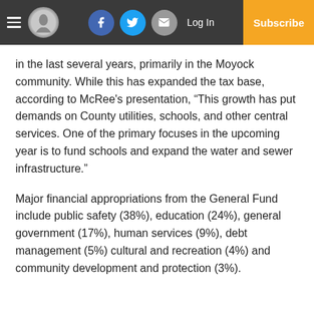Navigation bar with hamburger menu, logo, Facebook, Twitter, Email icons, Log In, Subscribe
in the last several years, primarily in the Moyock community. While this has expanded the tax base, according to McRee's presentation, “This growth has put demands on County utilities, schools, and other central services. One of the primary focuses in the upcoming year is to fund schools and expand the water and sewer infrastructure.”
Major financial appropriations from the General Fund include public safety (38%), education (24%), general government (17%), human services (9%), debt management (5%) cultural and recreation (4%) and community development and protection (3%).